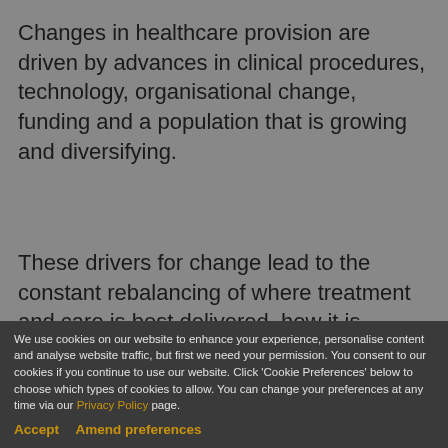Changes in healthcare provision are driven by advances in clinical procedures, technology, organisational change, funding and a population that is growing and diversifying.
These drivers for change lead to the constant rebalancing of where treatment and care is best delivered, how it is delivered, and what outcomes are expected from the money spent.
We have worked with both private and public sector
We use cookies on our website to enhance your experience, personalise content and analyse website traffic, but first we need your permission. You consent to our cookies if you continue to use our website. Click 'Cookie Preferences' below to choose which types of cookies to allow. You can change your preferences at any time via our Privacy Policy page.
Accept    Amend preferences